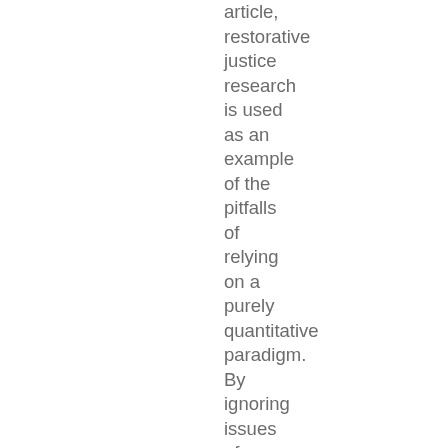article, restorative justice research is used as an example of the pitfalls of relying on a purely quantitative paradigm. By ignoring issues of programme integrity